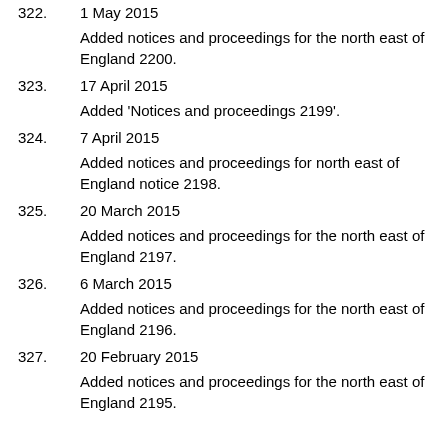322. 1 May 2015 — Added notices and proceedings for the north east of England 2200.
323. 17 April 2015 — Added 'Notices and proceedings 2199'.
324. 7 April 2015 — Added notices and proceedings for north east of England notice 2198.
325. 20 March 2015 — Added notices and proceedings for the north east of England 2197.
326. 6 March 2015 — Added notices and proceedings for the north east of England 2196.
327. 20 February 2015 — Added notices and proceedings for the north east of England 2195.